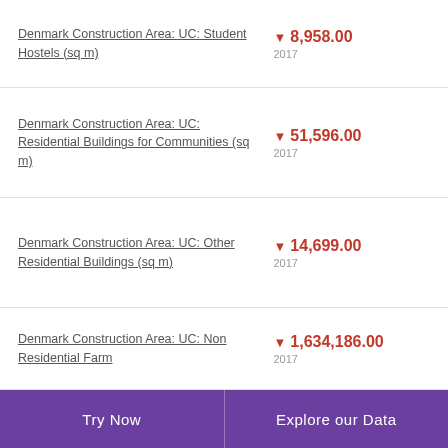Denmark Construction Area: UC: Student Hostels (sq m)
Denmark Construction Area: UC: Residential Buildings for Communities (sq m)
Denmark Construction Area: UC: Other Residential Buildings (sq m)
Denmark Construction Area: UC: Non Residential Farm
Try Now | Explore our Data